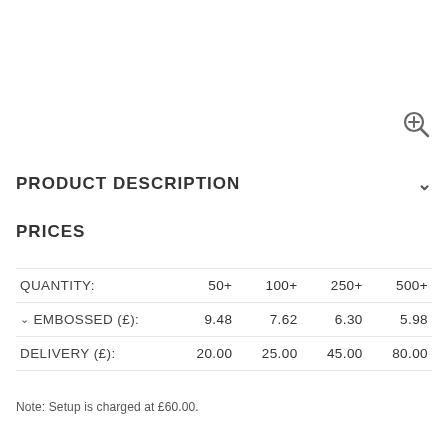[Figure (other): Zoom/magnify icon in upper right]
PRODUCT DESCRIPTION
PRICES
| QUANTITY: | 50+ | 100+ | 250+ | 500+ |
| --- | --- | --- | --- | --- |
| ∨ EMBOSSED (£): | 9.48 | 7.62 | 6.30 | 5.98 |
| DELIVERY (£): | 20.00 | 25.00 | 45.00 | 80.00 |
Note: Setup is charged at £60.00.